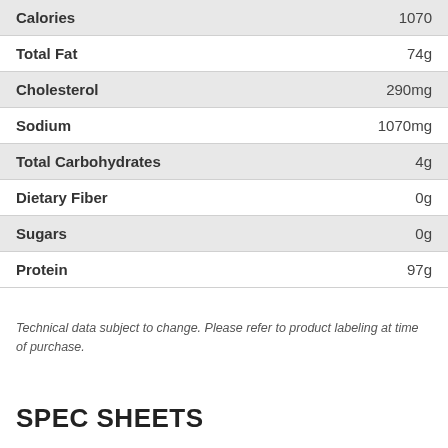| Nutrient | Amount |
| --- | --- |
| Calories | 1070 |
| Total Fat | 74g |
| Cholesterol | 290mg |
| Sodium | 1070mg |
| Total Carbohydrates | 4g |
| Dietary Fiber | 0g |
| Sugars | 0g |
| Protein | 97g |
Technical data subject to change. Please refer to product labeling at time of purchase.
SPEC SHEETS